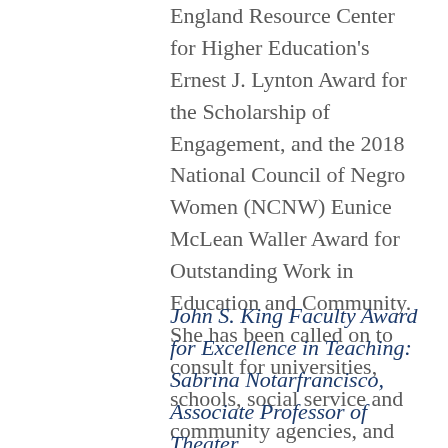England Resource Center for Higher Education's Ernest J. Lynton Award for the Scholarship of Engagement, and the 2018 National Council of Negro Women (NCNW) Eunice McLean Waller Award for Outstanding Work in Education and Community. She has been called on to consult for universities, schools, social service and community agencies, and businesses.
John S. King Faculty Award for Excellence in Teaching: Sabrina Notarfrancisco, Associate Professor of Theater